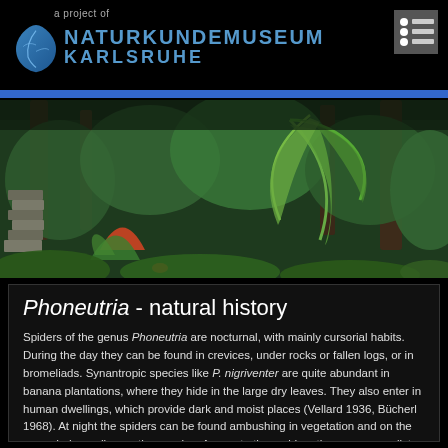a project of NATURKUNDEMUSEUM KARLSRUHE
[Figure (logo): Naturkundemuseum Karlsruhe logo with stylized leaf/droplet icon in blue]
[Figure (photo): Tropical rainforest scene with lush green vegetation including banana plants and bromeliads]
Phoneutria - natural history
Spiders of the genus Phoneutria are nocturnal, with mainly cursorial habits. During the day they can be found in crevices, under rocks or fallen logs, or in bromeliads. Synantropic species like P. nigriventer are quite abundant in banana plantations, where they hide in the large dry leaves. They also enter in human dwellings, which provide dark and moist places (Vellard 1936, Bücherl 1968). At night the spiders can be found ambushing in vegetation and on the ground, depending on the species. As most other spiders they are generalist predators, feeding pretty much on every animal they can overcome - insects, other spiders, scorpions, scolopenders, frogs or lizards. Exceptions may be toxic animals – like poison dart frogs or, as